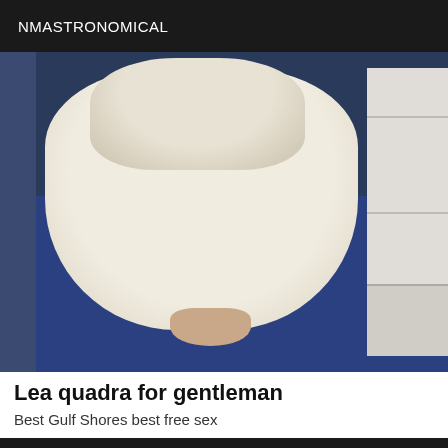NMASTRONOMICAL
[Figure (photo): A person wearing a light-colored garment, photographed from below chest level, standing on a blue floor with a white shelf unit visible in the background.]
Lea quadra for gentleman
Best Gulf Shores best free sex